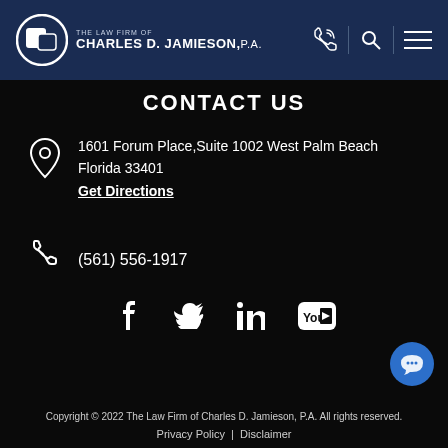[Figure (logo): The Law Firm of Charles D. Jamieson, P.A. logo with circular icon and text on dark blue header]
CONTACT US
1601 Forum Place,Suite 1002 West Palm Beach Florida 33401
Get Directions
(561) 556-1917
[Figure (other): Social media icons: Facebook, Twitter, LinkedIn, YouTube]
Copyright © 2022 The Law Firm of Charles D. Jamieson, P.A. All rights reserved.
Privacy Policy | Disclaimer